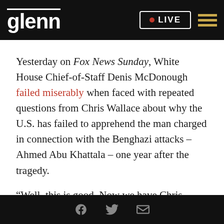glenn LIVE
Yesterday on Fox News Sunday, White House Chief-of-Staff Denis McDonough failed miserably when faced with repeated questions from Chris Wallace about why the U.S. has failed to apprehend the man charged in connection with the Benghazi attacks – Ahmed Abu Khattala – one year after the tragedy.
“Well, this is good. Now we have Chris Wallace actually doing some journalism,” Glenn said on
Facebook | Twitter | Email